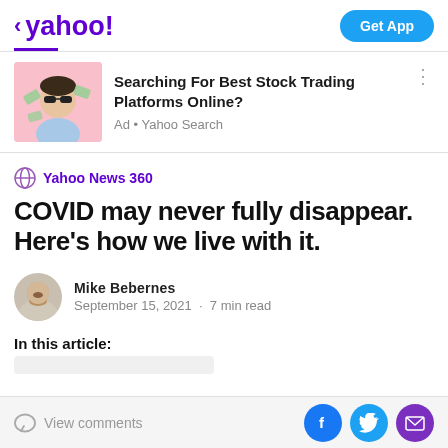< yahoo!  Get App
[Figure (screenshot): Yahoo News app advertisement for stock trading platforms showing a man in sunglasses with money]
Searching For Best Stock Trading Platforms Online?
Ad • Yahoo Search
Yahoo News 360
COVID may never fully disappear. Here's how we live with it.
Mike Bebernes
September 15, 2021  ·  7 min read
In this article:
View comments